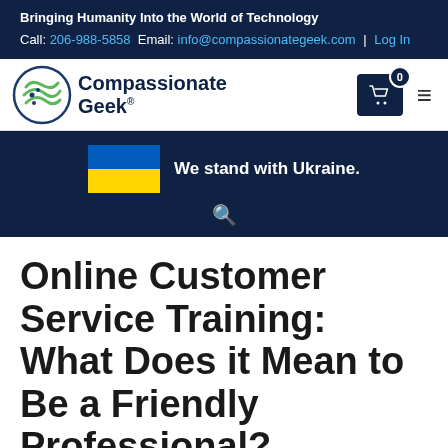Bringing Humanity Into the World of Technology
Call: 206-988-5858 Email: info@compassionategeek.com | Log In
[Figure (logo): Compassionate Geek logo with swirl icon and registered trademark]
[Figure (illustration): Ukraine flag (blue and yellow) with text 'We stand with Ukraine.' and search icon below]
Online Customer Service Training: What Does it Mean to Be a Friendly Professional?
Leave a Comment / IT Customer Service / By Ron Curvelo / January...